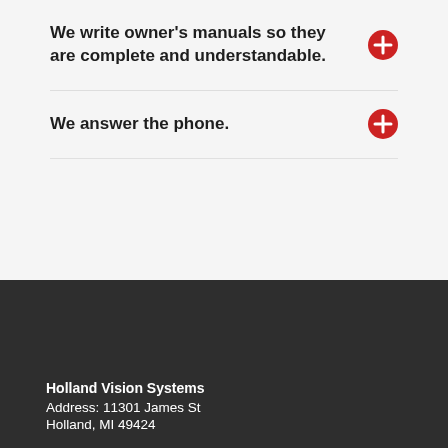We write owner's manuals so they are complete and understandable.
We answer the phone.
Holland Vision Systems
Address: 11301 James St
Holland, MI 49424